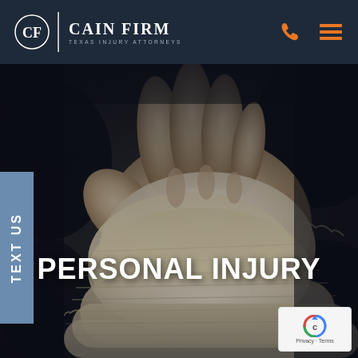CF | CAIN FIRM TEXAS INJURY ATTORNEYS
[Figure (photo): Bandaged hand and wrist against dark background with overlay text PERSONAL INJURY]
TEXT US
PERSONAL INJURY
[Figure (logo): Google reCAPTCHA badge with Privacy - Terms text]